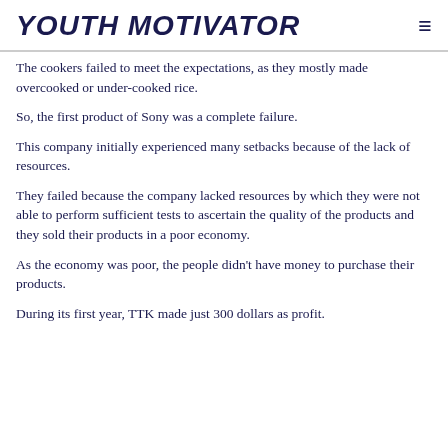YOUTH MOTIVATOR
The cookers failed to meet the expectations, as they mostly made overcooked or under-cooked rice.
So, the first product of Sony was a complete failure.
This company initially experienced many setbacks because of the lack of resources.
They failed because the company lacked resources by which they were not able to perform sufficient tests to ascertain the quality of the products and they sold their products in a poor economy.
As the economy was poor, the people didn't have money to purchase their products.
During its first year, TTK made just 300 dollars as profit.